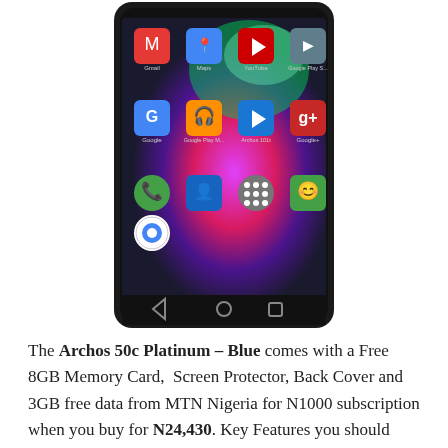[Figure (photo): Archos 50c Platinum Blue smartphone showing Android home screen with app icons including Gmail, Maps, YouTube, Google Play Store, Google, Google Play Music, Archos 101, Google+, Phone, Contacts, Apps, Messaging, and Chrome. Device has black bezel with three navigation buttons at bottom.]
The Archos 50c Platinum – Blue comes with a Free 8GB Memory Card,  Screen Protector, Back Cover and 3GB free data from MTN Nigeria for N1000 subscription when you buy for N24,430. Key Features you should know about this phone are Screen: 5.0 HD Inch, Memory: 1GB RAM, 8GB Internal Storage,microSD support, CPU: Quad-core @ 1.2GHz, Operating System: Android Lollipop 5.1, Camera: 13MP Rear Camera, Battery: 2000mAh capacity.
Order Now/check out Platinum For More ...